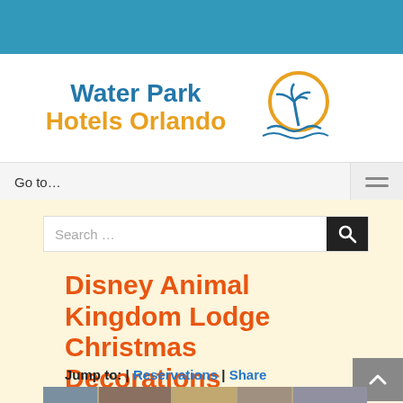[Figure (logo): Water Park Hotels Orlando logo with palm tree and sun/wave graphic]
Go to...
Search ...
Disney Animal Kingdom Lodge Christmas Decorations
Jump to:  |  Reservations  |  Share
[Figure (photo): Bottom strip showing Disney Animal Kingdom Lodge Christmas decorations]